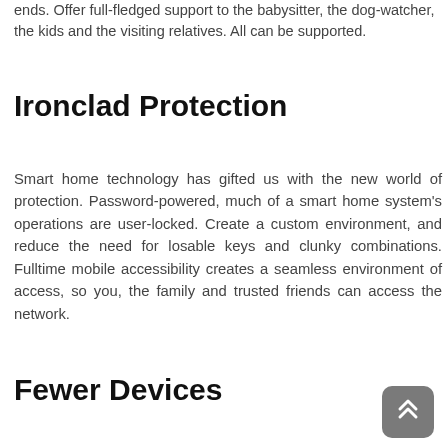ends. Offer full-fledged support to the babysitter, the dog-watcher, the kids and the visiting relatives. All can be supported.
Ironclad Protection
Smart home technology has gifted us with the new world of protection. Password-powered, much of a smart home system’s operations are user-locked. Create a custom environment, and reduce the need for losable keys and clunky combinations. Fulltime mobile accessibility creates a seamless environment of access, so you, the family and trusted friends can access the network.
Fewer Devices